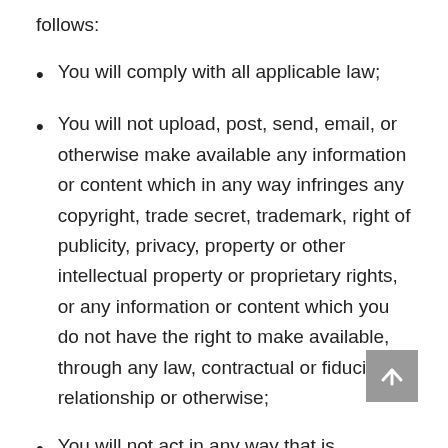follows:
You will comply with all applicable law;
You will not upload, post, send, email, or otherwise make available any information or content which in any way infringes any copyright, trade secret, trademark, right of publicity, privacy, property or other intellectual property or proprietary rights, or any information or content which you do not have the right to make available, through any law, contractual or fiduciary relationship or otherwise;
You will not act in any way that is fraudulent